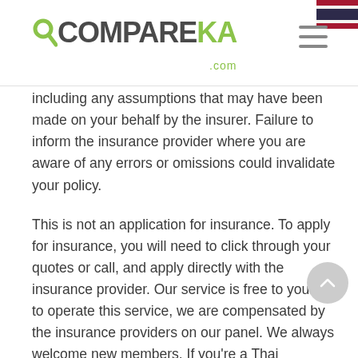COMPAREKA.com
including any assumptions that may have been made on your behalf by the insurer. Failure to inform the insurance provider where you are aware of any errors or omissions could invalidate your policy.
This is not an application for insurance. To apply for insurance, you will need to click through your quotes or call, and apply directly with the insurance provider. Our service is free to you but to operate this service, we are compensated by the insurance providers on our panel. We always welcome new members. If you're a Thai insurance provider, please contact us.
Complaints
We pride ourselves on our very high standards and always aim to give our clients the best level of service